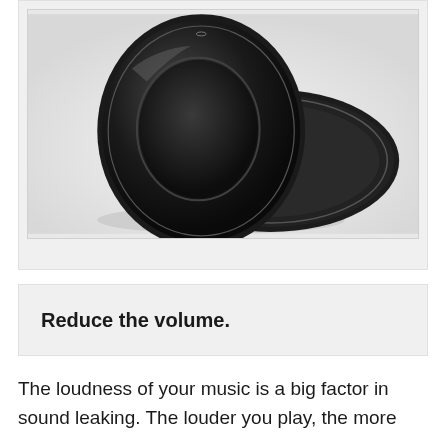[Figure (photo): Two black headphone ear cushions/earpads made of leather-like material, shown against a light gray background. One earpad is upright showing the cushioned oval interior, the other is flat behind it.]
Reduce the volume.
The loudness of your music is a big factor in sound leaking. The louder you play, the more